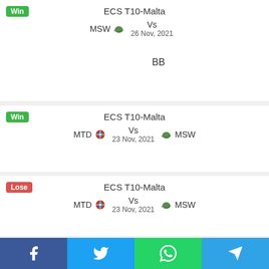Win
ECS T10-Malta
MSW Vs 26 Nov, 2021
BB
Win
ECS T10-Malta
MTD Vs MSW 23 Nov, 2021
Lose
ECS T10-Malta
MTD Vs MSW 23 Nov, 2021